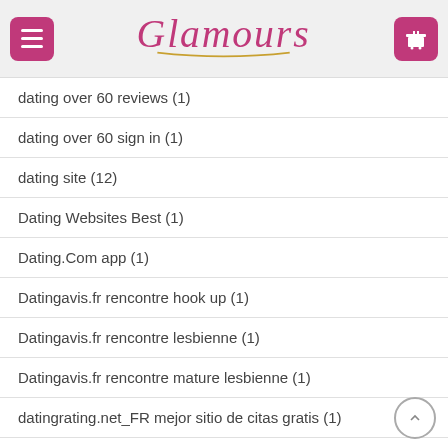Glamours
dating over 60 reviews (1)
dating over 60 sign in (1)
dating site (12)
Dating Websites Best (1)
Dating.Com app (1)
Datingavis.fr rencontre hook up (1)
Datingavis.fr rencontre lesbienne (1)
Datingavis.fr rencontre mature lesbienne (1)
datingrating.net_FR mejor sitio de citas gratis (1)
DatingReviewer best free dating apps (1)